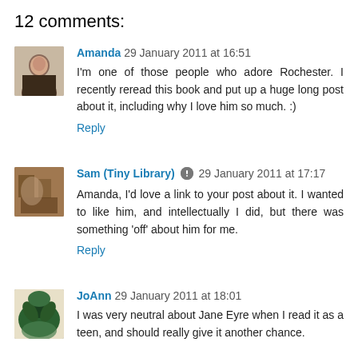12 comments:
Amanda 29 January 2011 at 16:51
I'm one of those people who adore Rochester. I recently reread this book and put up a huge long post about it, including why I love him so much. :)
Reply
Sam (Tiny Library) 29 January 2011 at 17:17
Amanda, I'd love a link to your post about it. I wanted to like him, and intellectually I did, but there was something 'off' about him for me.
Reply
JoAnn 29 January 2011 at 18:01
I was very neutral about Jane Eyre when I read it as a teen, and should really give it another chance.